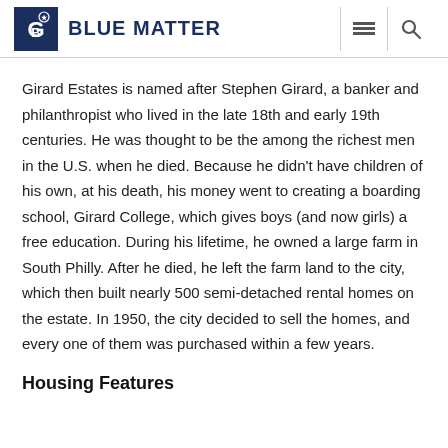BLUE MATTER
Girard Estates is named after Stephen Girard, a banker and philanthropist who lived in the late 18th and early 19th centuries. He was thought to be the among the richest men in the U.S. when he died. Because he didn't have children of his own, at his death, his money went to creating a boarding school, Girard College, which gives boys (and now girls) a free education. During his lifetime, he owned a large farm in South Philly. After he died, he left the farm land to the city, which then built nearly 500 semi-detached rental homes on the estate. In 1950, the city decided to sell the homes, and every one of them was purchased within a few years.
Housing Features